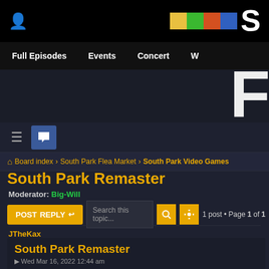South Park website header with navigation: Full Episodes, Events, Concert, W...
Board index › South Park Flea Market › South Park Video Games
South Park Remaster
Moderator: Big-Will
POST REPLY | Search this topic... | 1 post • Page 1 of 1
JTheKax
South Park Remaster
Wed Mar 16, 2022 12:44 am
Hello, Personally I loved the crash team racing game, so i think it would be a overhaul from the old South Park Rally Game. A Unique Storyline with plenty